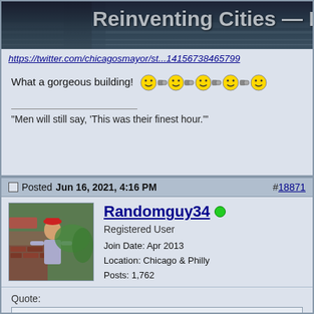[Figure (screenshot): Partial banner image for 'Reinventing Cities — Downtown Chica...' with dark urban overpass photo]
https://twitter.com/chicagosmayor/st...14156738465799
What a gorgeous building! [emoji icons]
"Men will still say, 'This was their finest hour.'"
Posted Jun 16, 2021, 4:16 PM   #18871
[Figure (photo): Avatar photo of user Randomguy34 showing a person near a brick wall with greenery]
Randomguy34
Registered User
Join Date: Apr 2013
Location: Chicago & Philly
Posts: 1,762
Quote:
Originally Posted by dropdeaded209
oh no does this spell the death of the Plymouth rooftop bar? lol oh well I guess its time has come, it did offer a pretty stellar view onto the library though...